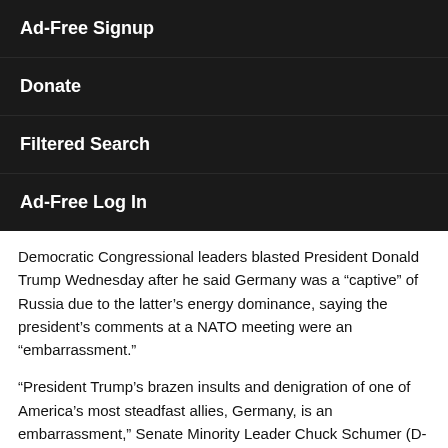Ad-Free Signup
Donate
Filtered Search
Ad-Free Log In
Democratic Congressional leaders blasted President Donald Trump Wednesday after he said Germany was a “captive” of Russia due to the latter’s energy dominance, saying the president’s comments at a NATO meeting were an “embarrassment.”
“President Trump’s brazen insults and denigration of one of America’s most steadfast allies, Germany, is an embarrassment,” Senate Minority Leader Chuck Schumer (D-NY) and House Minority Leader Nancy Pelosi (D-NY)